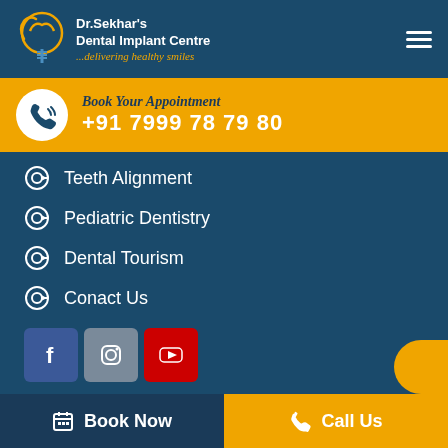[Figure (logo): Dr. Sekhar's Dental Implant Centre logo with tooth icon and tagline ...delivering healthy smiles]
[Figure (infographic): Book Your Appointment banner with phone icon and number +91 7999 78 79 80]
Teeth Alignment
Pediatric Dentistry
Dental Tourism
Conact Us
[Figure (logo): Social media icons: Facebook, Instagram, YouTube]
DENTAL IMPLANTS
Single Tooth Replacement
Book Now   Call Us